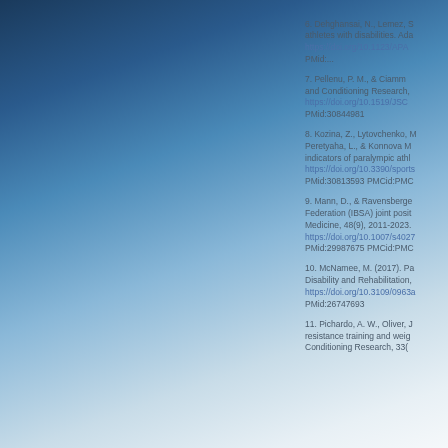6. Dehghansai, N., Lemez, S... athletes with disabilities. Adapted... https://doi.org/10.1123/APA... PMid:... 7. Pellenu, P. M., & Ciamm... and Conditioning Research,... https://doi.org/10.1519/JSC... PMid:30844981 8. Kozina, Z., Lytovchenko, M... Peretyaha, L., & Konnova M... indicators of paralympic athl... https://doi.org/10.3390/sports... PMid:30813593 PMCid:PMC... 9. Mann, D., & Ravensberge... Federation (IBSA) joint posit... Medicine, 48(9), 2011-2023. https://doi.org/10.1007/s4027... PMid:29987675 PMCid:PMC... 10. McNamee, M. (2017). Pa... Disability and Rehabilitation,... https://doi.org/10.3109/0963a... PMid:26747693 11. Pichardo, A. W., Oliver, J... resistance training and weigh... Conditioning Research, 33(...